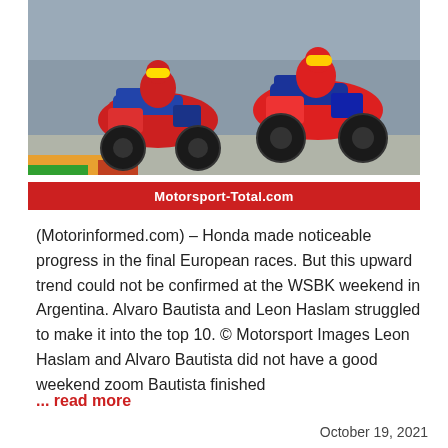[Figure (photo): Two Honda motorcycle riders racing on a track circuit, leaning into a corner. The motorcycles are red, blue, and white. A red banner at the bottom reads Motorsport-Total.com.]
(Motorinformed.com) – Honda made noticeable progress in the final European races. But this upward trend could not be confirmed at the WSBK weekend in Argentina. Alvaro Bautista and Leon Haslam struggled to make it into the top 10. © Motorsport Images Leon Haslam and Alvaro Bautista did not have a good weekend zoom Bautista finished
... read more
October 19, 2021